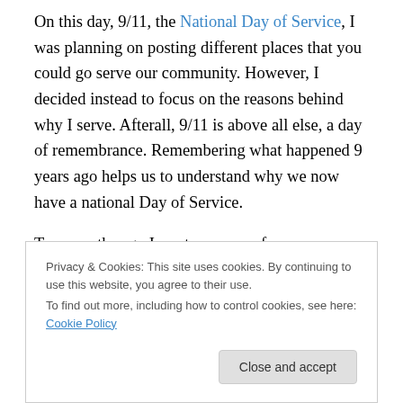On this day, 9/11, the National Day of Service, I was planning on posting different places that you could go serve our community. However, I decided instead to focus on the reasons behind why I serve. Afterall, 9/11 is above all else, a day of remembrance. Remembering what happened 9 years ago helps us to understand why we now have a national Day of Service.
Two months ago I wrote an essay for an application, which I'm sharing below. The question: "Why are you a part of the service movement?"
Privacy & Cookies: This site uses cookies. By continuing to use this website, you agree to their use. To find out more, including how to control cookies, see here: Cookie Policy